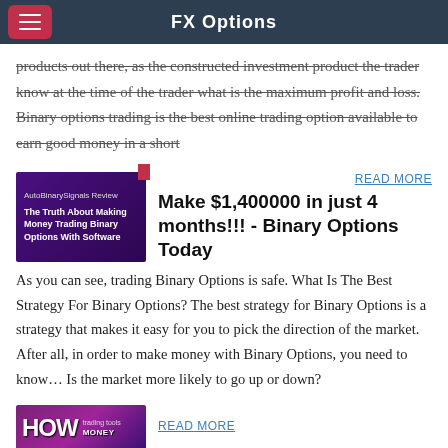FX Options
products out there, as the constructed investment product the trader know at the time of the trader what is the maximum profit and loss. Binary options trading is the best online trading option available to earn good money in a short
[Figure (screenshot): Thumbnail image showing AutoBinarySignals Review - The Truth About Making Money Trading Binary Options With Software]
READ MORE
Make $1,400000 in just 4 months!!! - Binary Options Today
As you can see, trading Binary Options is safe. What Is The Best Strategy For Binary Options? The best strategy for Binary Options is a strategy that makes it easy for you to pick the direction of the market. After all, in order to make money with Binary Options, you need to know... Is the market more likely to go up or down?
[Figure (screenshot): Bottom thumbnail showing HOW trading tools and MONEY text]
READ MORE